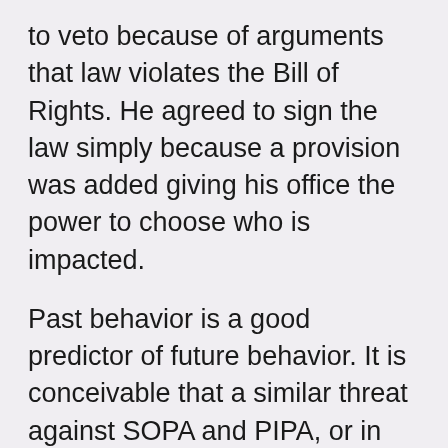to veto because of arguments that law violates the Bill of Rights. He agreed to sign the law simply because a provision was added giving his office the power to choose who is impacted.
Past behavior is a good predictor of future behavior. It is conceivable that a similar threat against SOPA and PIPA, or in this case a non-threat, will be pushed aside when the administration feels it can be pushed through with much less of a fight.
About the same time on Saturday word came down from House Oversight Chairman Darrell Issa, who was opposed to SOPA, that SOPA was